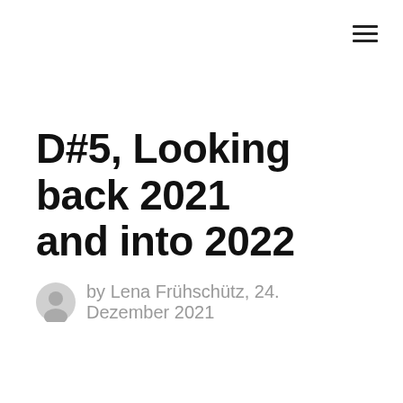☰
D#5, Looking back 2021 and into 2022
by Lena Frühschütz, 24. Dezember 2021